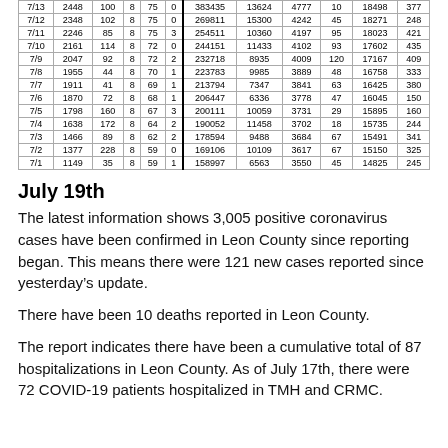| Date | Leon Cases | New | Deaths | New Deaths | Hosp | FL Cases | New | FL Deaths | New | FL Hosp | New |
| --- | --- | --- | --- | --- | --- | --- | --- | --- | --- | --- | --- |
| 7/13 | 2448 | 100 | 8 | 75 | 0 | 383435 | 13624 | 4777 | 10 | 18498 | 377 |
| 7/12 | 2348 | 102 | 8 | 75 | 0 | 269811 | 15300 | 4242 | 45 | 18271 | 248 |
| 7/11 | 2246 | 85 | 8 | 75 | 3 | 254511 | 10360 | 4197 | 95 | 18023 | 421 |
| 7/10 | 2161 | 114 | 8 | 72 | 0 | 244151 | 11433 | 4102 | 93 | 17602 | 435 |
| 7/9 | 2047 | 92 | 8 | 72 | 2 | 232718 | 8935 | 4009 | 120 | 17167 | 409 |
| 7/8 | 1955 | 44 | 8 | 70 | 1 | 223783 | 9985 | 3889 | 48 | 16758 | 333 |
| 7/7 | 1911 | 41 | 8 | 69 | 1 | 213794 | 7347 | 3841 | 63 | 16425 | 380 |
| 7/6 | 1870 | 72 | 8 | 68 | 1 | 206447 | 6336 | 3778 | 47 | 16045 | 150 |
| 7/5 | 1798 | 160 | 8 | 67 | 3 | 200111 | 10059 | 3731 | 29 | 15895 | 160 |
| 7/4 | 1638 | 172 | 8 | 64 | 2 | 190052 | 11458 | 3702 | 18 | 15735 | 244 |
| 7/3 | 1466 | 89 | 8 | 62 | 2 | 178594 | 9488 | 3684 | 67 | 15491 | 341 |
| 7/2 | 1377 | 228 | 8 | 59 | 0 | 169106 | 10109 | 3617 | 67 | 15150 | 325 |
| 7/1 | 1149 | 35 | 8 | 59 | 1 | 158997 | 6563 | 3550 | 45 | 14825 | 245 |
July 19th
The latest information shows 3,005 positive coronavirus cases have been confirmed in Leon County since reporting began. This means there were 121 new cases reported since yesterday’s update.
There have been 10 deaths reported in Leon County.
The report indicates there have been a cumulative total of 87 hospitalizations in Leon County. As of July 17th, there were 72 COVID-19 patients hospitalized in TMH and CRMC.